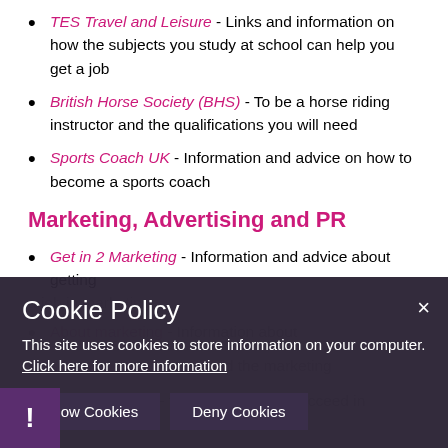TES Travel and Leisure - Links and information on how the subjects you study at school can help you get a job
British Horse Society (BHS) - To be a horse riding instructor and the qualifications you will need
Sports Coach UK - Information and advice on how to become a sports coach
Marketing, Advertising and PR
Get in 2 Marketing - Information and advice about getting a job in marketing
[Figure (screenshot): Cookie Policy overlay popup with dark purple background showing title 'Cookie Policy', text 'This site uses cookies to store information on your computer. Click here for more information', and two buttons: 'Allow Cookies' and 'Deny Cookies'. A close (x) button is at top right and an exclamation mark icon is at bottom left.]